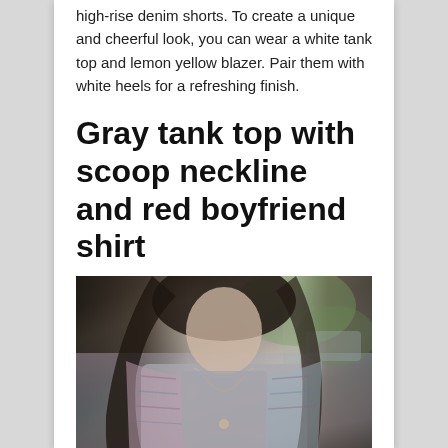high-rise denim shorts. To create a unique and cheerful look, you can wear a white tank top and lemon yellow blazer. Pair them with white heels for a refreshing finish.
Gray tank top with scoop neckline and red boyfriend shirt
[Figure (photo): A woman with long dark wavy hair wearing a gray scoop-neck tank top and an open patterned (red/pink/blue) boyfriend shirt, with dark high-waist bottoms. Outdoor setting with blurred green background.]